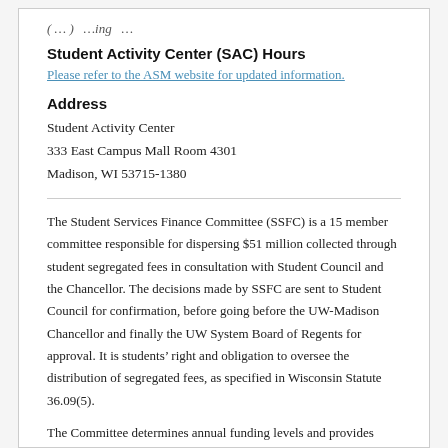(…) …ing …
Student Activity Center (SAC) Hours
Please refer to the ASM website for updated information.
Address
Student Activity Center
333 East Campus Mall Room 4301
Madison, WI 53715-1380
The Student Services Finance Committee (SSFC) is a 15 member committee responsible for dispersing $51 million collected through student segregated fees in consultation with Student Council and the Chancellor. The decisions made by SSFC are sent to Student Council for confirmation, before going before the UW-Madison Chancellor and finally the UW System Board of Regents for approval. It is students' right and obligation to oversee the distribution of segregated fees, as specified in Wisconsin Statute 36.09(5).
The Committee determines annual funding levels and provides…